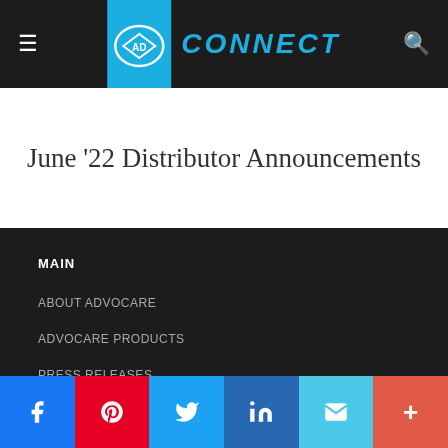AdvoCare Connect
June '22 Distributor Announcements
MAIN
ABOUT ADVOCARE
ADVOCARE PRODUCTS
PRESS RELEASES
FOR MEDIA INQUIRIES
MEDIA@ADVOCARE.COM
FOR CUSTOMER SERVICE